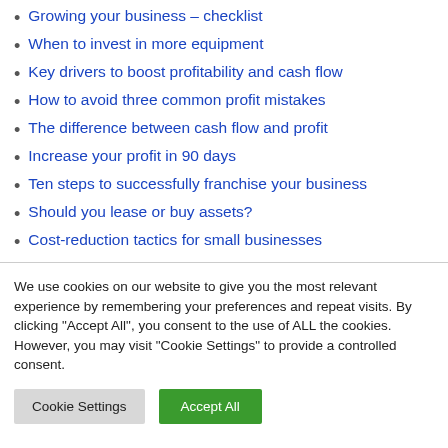Growing your business – checklist
When to invest in more equipment
Key drivers to boost profitability and cash flow
How to avoid three common profit mistakes
The difference between cash flow and profit
Increase your profit in 90 days
Ten steps to successfully franchise your business
Should you lease or buy assets?
Cost-reduction tactics for small businesses
We use cookies on our website to give you the most relevant experience by remembering your preferences and repeat visits. By clicking "Accept All", you consent to the use of ALL the cookies. However, you may visit "Cookie Settings" to provide a controlled consent.